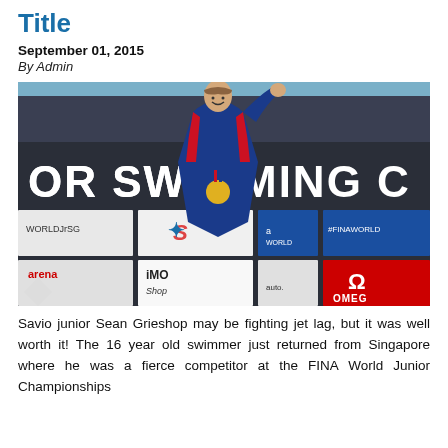Title
September 01, 2015
By Admin
[Figure (photo): A young swimmer standing on a podium with a gold medal and fist raised in victory, wearing a blue and red USA jacket. Behind them is a banner reading 'OR SWIMMING C' with sponsor logos including #FINAWORLD, WORLDJrSG, arena, iMO Shop, Omega, and others.]
Savio junior Sean Grieshop may be fighting jet lag, but it was well worth it! The 16 year old swimmer just returned from Singapore where he was a fierce competitor at the FINA World Junior Championships